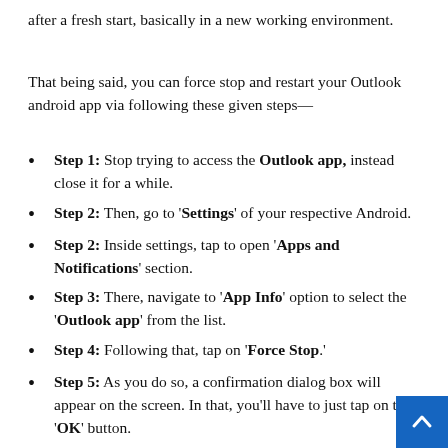after a fresh start, basically in a new working environment.
That being said, you can force stop and restart your Outlook android app via following these given steps—
Step 1: Stop trying to access the Outlook app, instead close it for a while.
Step 2: Then, go to 'Settings' of your respective Android.
Step 2: Inside settings, tap to open 'Apps and Notifications' section.
Step 3: There, navigate to 'App Info' option to select the 'Outlook app' from the list.
Step 4: Following that, tap on 'Force Stop.'
Step 5: As you do so, a confirmation dialog box will appear on the screen. In that, you'll have to just tap on the 'OK' button.